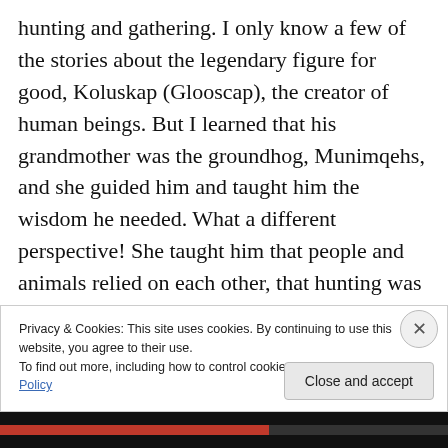hunting and gathering. I only know a few of the stories about the legendary figure for good, Koluskap (Glooscap), the creator of human beings. But I learned that his grandmother was the groundhog, Munimqehs, and she guided him and taught him the wisdom he needed. What a different perspective! She taught him that people and animals relied on each other, that hunting was necessary for the people to be strong, but that taking more than was needed was destructive to both.
Privacy & Cookies: This site uses cookies. By continuing to use this website, you agree to their use.
To find out more, including how to control cookies, see here: Cookie Policy